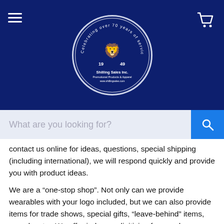[Figure (logo): Shilling Sales Inc. circular logo with lion and text 'Celebrating over 70 years of service and commitment 1949' on dark navy header with hamburger menu and cart icon]
[Figure (screenshot): Search bar with placeholder text 'What are you looking for?' and blue search button]
contact us online for ideas, questions, special shipping (including international), we will respond quickly and provide you with product ideas.
We are a “one-stop shop”. Not only can we provide wearables with your logo included, but we can also provide items for trade shows, special gifts, “leave-behind” items, awards, etc.  We offer in-house digitizing for your logos, embroidery services. This allows us to personalize every order.
We pride ourselves in getting what you need, when you need